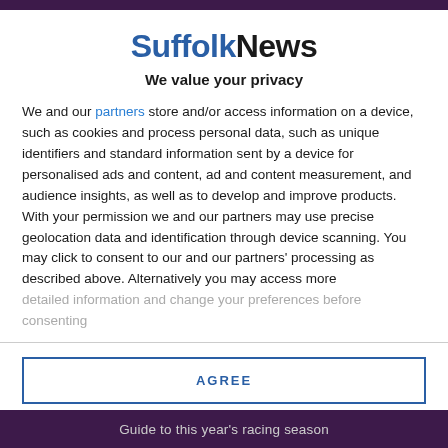SuffolkNews
We value your privacy
We and our partners store and/or access information on a device, such as cookies and process personal data, such as unique identifiers and standard information sent by a device for personalised ads and content, ad and content measurement, and audience insights, as well as to develop and improve products. With your permission we and our partners may use precise geolocation data and identification through device scanning. You may click to consent to our and our partners' processing as described above. Alternatively you may access more detailed information and change your preferences before consenting
AGREE
MORE OPTIONS
Guide to this year's racing season